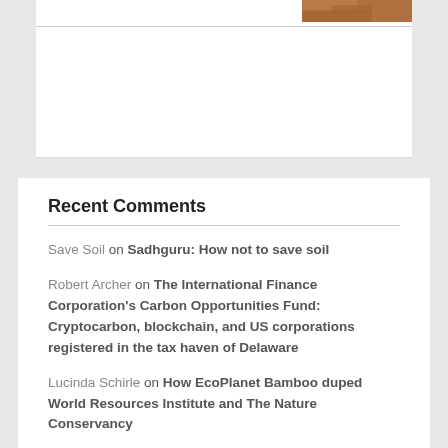[Figure (photo): Partial image visible at top right of page, appears to show natural/earth tones, possibly soil or rock]
Recent Comments
Save Soil on Sadhguru: How not to save soil
Robert Archer on The International Finance Corporation's Carbon Opportunities Fund: Cryptocarbon, blockchain, and US corporations registered in the tax haven of Delaware
Lucinda Schirle on How EcoPlanet Bamboo duped World Resources Institute and The Nature Conservancy
Lucinda Schirle on How EcoPlanet Bamboo duped World Resources Institute and The Nature